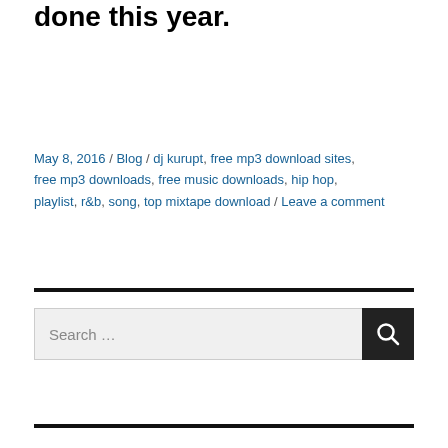done this year.
May 8, 2016 / Blog / dj kurupt, free mp3 download sites, free mp3 downloads, free music downloads, hip hop, playlist, r&b, song, top mixtape download / Leave a comment